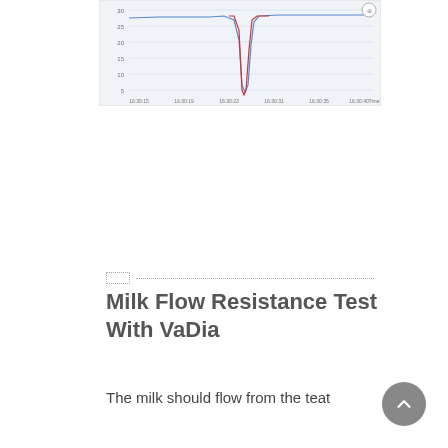[Figure (continuous-plot): A line chart showing milk flow resistance measurement over time with blue and red lines. The chart shows a sharp dip in the middle (around 16:30:23 to 16:30:31 time range) going down to approximately 0, with values otherwise around 25-30. X-axis shows time labels (16:30:15, 16:30:19, 16:30:23, 16:30:31, 16:30:35, 16:30:40 Time). Y-axis shows values from 0 to 30.]
Milk Flow Resistance Test With VaDia
The milk should flow from the teat